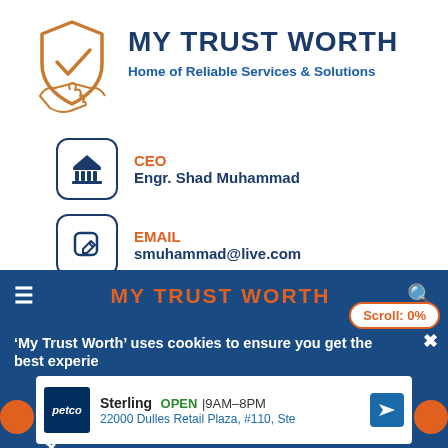[Figure (logo): My Trust Worth logo with handshake and shield icon in orange outline style]
MY TRUST WORTH
Home of Reliable Services & Solutions
CEO
Engr. Shad Muhammad
EMAIL
smuhammad@live.com
[Figure (screenshot): Website navigation bar showing MY TRUST WORTH in orange on blue background with hamburger menu and search icon]
Scroll: 0%
'My Trust Worth' uses cookies to ensure you get the best experience
[Figure (screenshot): Petco ad showing Sterling store OPEN 9AM-8PM at 22000 Dulles Retail Plaza, #110, Ste with navigation arrow]